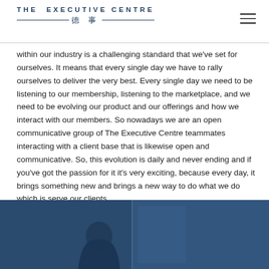THE EXECUTIVE CENTRE 德事
within our industry is a challenging standard that we've set for ourselves. It means that every single day we have to rally ourselves to deliver the very best. Every single day we need to be listening to our membership, listening to the marketplace, and we need to be evolving our product and our offerings and how we interact with our members. So nowadays we are an open communicative group of The Executive Centre teammates interacting with a client base that is likewise open and communicative. So, this evolution is daily and never ending and if you've got the passion for it it's very exciting, because every day, it brings something new and brings a new way to do what we do which is serve our clients.
[Figure (photo): A dark blue-toned photo showing a person (silhouette/profile) in a professional setting, partially visible at bottom of page.]